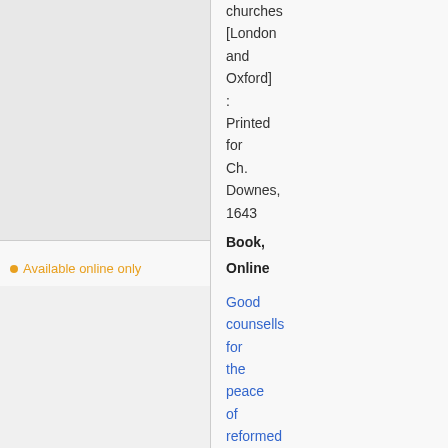churches [London and Oxford] : Printed for Ch. Downes, 1643
Book,
Online
Available online only
Good counsells for the peace of reformed churches [electronic resource]